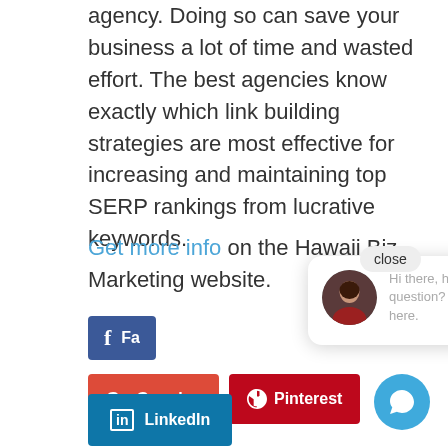agency. Doing so can save your business a lot of time and wasted effort. The best agencies know exactly which link building strategies are most effective for increasing and maintaining top SERP rankings from lucrative keywords.
Get more info on the Hawaii Biz Marketing website.
[Figure (screenshot): Chat widget popup with a woman's avatar photo and text: Hi there, have a question? Text us here. A close button is visible in the top right of the popup. A blue chat circle button is in the lower right.]
[Figure (screenshot): Social share buttons: Facebook (blue), Google+ (red-orange), Pinterest (dark red), LinkedIn (teal blue)]